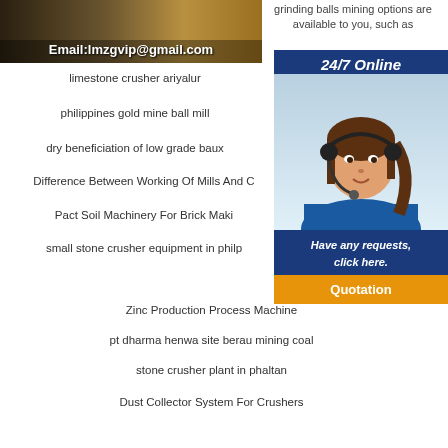[Figure (photo): Industrial machinery/crusher image with email overlay text: Email:lmzgvip@gmail.com]
grinding balls mining options are available to you, such as
24/7 Online
[Figure (photo): Customer service agent - woman wearing headset, blue background]
Have any requests, click here.
Quotation
limestone crusher ariyalur
philippines gold mine ball mill
dry beneficiation of low grade baux
Difference Between Working Of Mills And C
Pact Soil Machinery For Brick Maki
small stone crusher equipment in philp
Zinc Production Process Machine
pt dharma henwa site berau mining coal
stone crusher plant in phaltan
Dust Collector System For Crushers